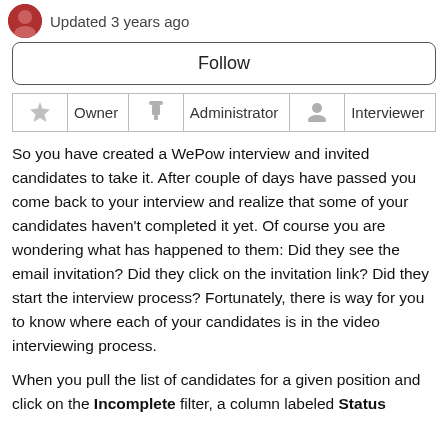Updated 3 years ago
Follow
|  | Owner |  | Administrator |  | Interviewer |
| --- | --- | --- | --- | --- | --- |
| ★ | Owner | ▼ | Administrator | 👤 | Interviewer |
So you have created a WePow interview and invited candidates to take it. After couple of days have passed you come back to your interview and realize that some of your candidates haven't completed it yet. Of course you are wondering what has happened to them: Did they see the email invitation? Did they click on the invitation link? Did they start the interview process? Fortunately, there is way for you to know where each of your candidates is in the video interviewing process.
When you pull the list of candidates for a given position and click on the Incomplete filter, a column labeled Status